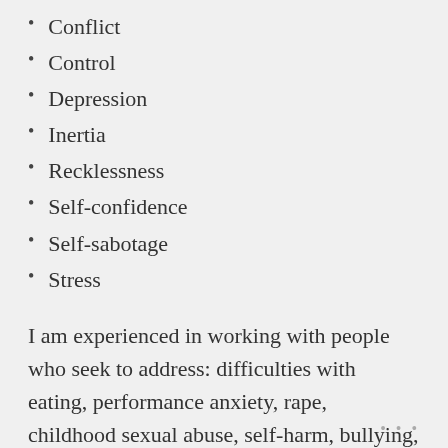Conflict
Control
Depression
Inertia
Recklessness
Self-confidence
Self-sabotage
Stress
I am experienced in working with people who seek to address: difficulties with eating, performance anxiety, rape, childhood sexual abuse, self-harm, bullying, difficulties in relationships…
• • •